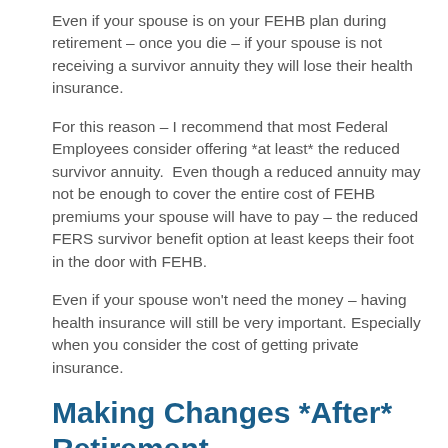Even if your spouse is on your FEHB plan during retirement – once you die – if your spouse is not receiving a survivor annuity they will lose their health insurance.
For this reason – I recommend that most Federal Employees consider offering *at least* the reduced survivor annuity.  Even though a reduced annuity may not be enough to cover the entire cost of FEHB premiums your spouse will have to pay – the reduced FERS survivor benefit option at least keeps their foot in the door with FEHB.
Even if your spouse won't need the money – having health insurance will still be very important. Especially when you consider the cost of getting private insurance.
Making Changes *After* Retirement